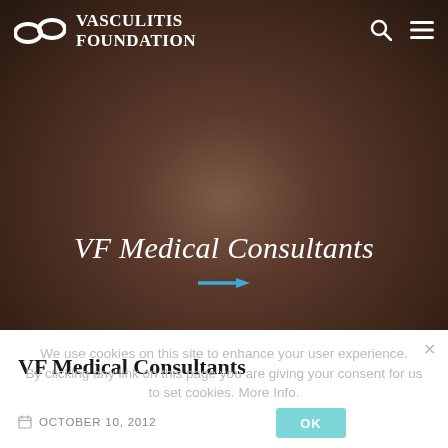[Figure (photo): Hero banner showing multiple diverse hands joined together in a circle, with a warm brown/reddish tone background suggesting community and solidarity. Vasculitis Foundation logo and navigation at top.]
VF Medical Consultants
We use cookies on this site to enhance your user experience.
By clicking any link on this page you are giving your consent for us to set cookies. More Info.
VF Medical Consultants
OCTOBER 10, 2012